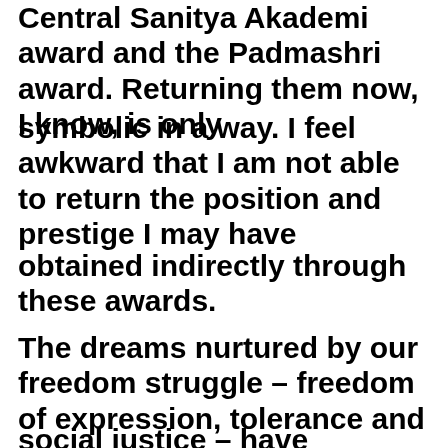Central Sanitya Akademi award and the Padmashri award. Returning them now, I know, is only
symbolic in a way. I feel awkward that I am not able to return the position and prestige I may have
obtained indirectly through these awards.
The dreams nurtured by our freedom struggle – freedom of expression, tolerance and
social justice – have somehow